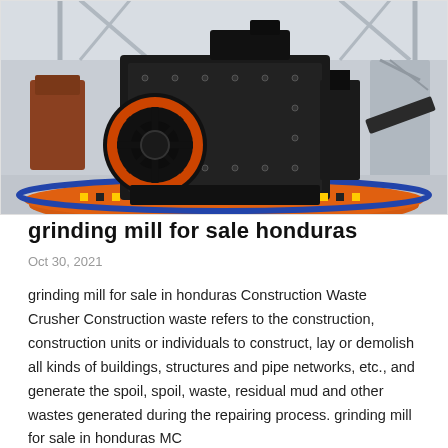[Figure (photo): Industrial grinding mill / jaw crusher machine displayed indoors in a large warehouse or factory hall. The machine is predominantly black with an orange flywheel on the left side. It sits on an orange circular base/platform. The factory background shows steel trusses, roof supports, and other equipment.]
grinding mill for sale honduras
Oct 30, 2021
grinding mill for sale in honduras Construction Waste Crusher Construction waste refers to the construction, construction units or individuals to construct, lay or demolish all kinds of buildings, structures and pipe networks, etc., and generate the spoil, spoil, waste, residual mud and other wastes generated during the repairing process. grinding mill for sale in honduras MC